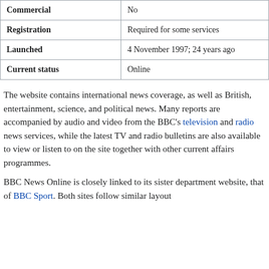| Commercial | No |
| Registration | Required for some services |
| Launched | 4 November 1997; 24 years ago |
| Current status | Online |
The website contains international news coverage, as well as British, entertainment, science, and political news. Many reports are accompanied by audio and video from the BBC's television and radio news services, while the latest TV and radio bulletins are also available to view or listen to on the site together with other current affairs programmes.
BBC News Online is closely linked to its sister department website, that of BBC Sport. Both sites follow similar layout